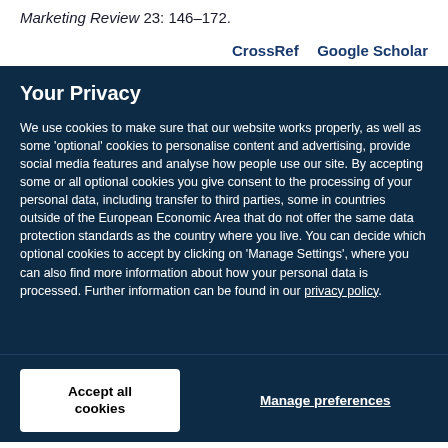Marketing Review 23: 146–172.
CrossRef   Google Scholar
Your Privacy
We use cookies to make sure that our website works properly, as well as some 'optional' cookies to personalise content and advertising, provide social media features and analyse how people use our site. By accepting some or all optional cookies you give consent to the processing of your personal data, including transfer to third parties, some in countries outside of the European Economic Area that do not offer the same data protection standards as the country where you live. You can decide which optional cookies to accept by clicking on 'Manage Settings', where you can also find more information about how your personal data is processed. Further information can be found in our privacy policy.
Accept all cookies
Manage preferences